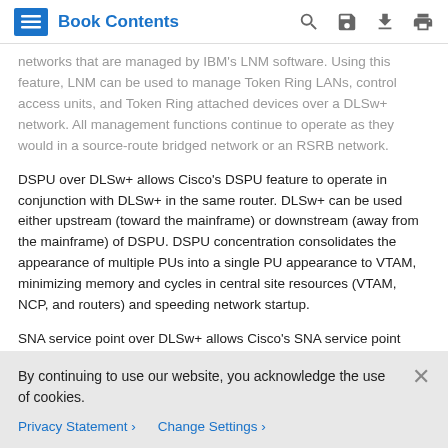Book Contents
networks that are managed by IBM's LNM software. Using this feature, LNM can be used to manage Token Ring LANs, control access units, and Token Ring attached devices over a DLSw+ network. All management functions continue to operate as they would in a source-route bridged network or an RSRB network.
DSPU over DLSw+ allows Cisco's DSPU feature to operate in conjunction with DLSw+ in the same router. DLSw+ can be used either upstream (toward the mainframe) or downstream (away from the mainframe) of DSPU. DSPU concentration consolidates the appearance of multiple PUs into a single PU appearance to VTAM, minimizing memory and cycles in central site resources (VTAM, NCP, and routers) and speeding network startup.
SNA service point over DLSw+ allows Cisco's SNA service point
By continuing to use our website, you acknowledge the use of cookies.
Privacy Statement › Change Settings ›